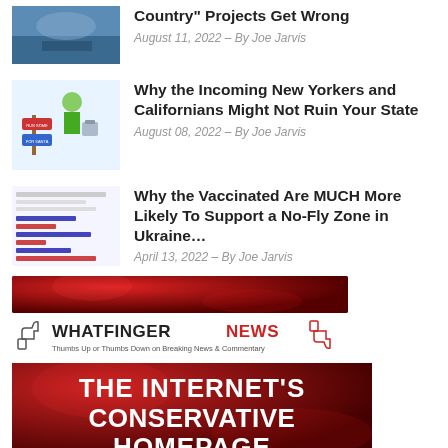[Figure (photo): Thumbnail image for article about Country Projects]
Country" Projects Get Wrong
August 11, 2022 – By Joe Jarvis
[Figure (illustration): Cartoon of person with suitcase at road sign (New York/California)]
Why the Incoming New Yorkers and Californians Might Not Ruin Your State
August 08, 2022 – By Joe Jarvis
[Figure (screenshot): Screenshot of survey data about vaccinated and no-fly zone support]
Why the Vaccinated Are MUCH More Likely To Support a No-Fly Zone in Ukraine…
April 13, 2022 – By Joe Jarvis
[Figure (other): Red banner top strip]
[Figure (logo): Whatfinger News logo - Thumbs Up or Thumbs Down on Breaking News & Commentary]
[Figure (other): Red banner bottom with text: THE INTERNET'S CONSERVATIVE HOMEPAGE]